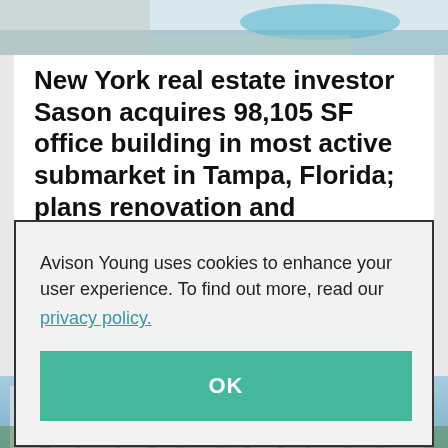[Figure (photo): Aerial or rooftop photo, partially visible at the top of the page]
New York real estate investor Sason acquires 98,105 SF office building in most active submarket in Tampa, Florida; plans renovation and rebranding
Avison Young uses cookies to enhance your user experience. To find out more, read our privacy policy.
[Figure (photo): Aerial cityscape photo of Tampa, Florida skyline, partially visible at the bottom of the page]